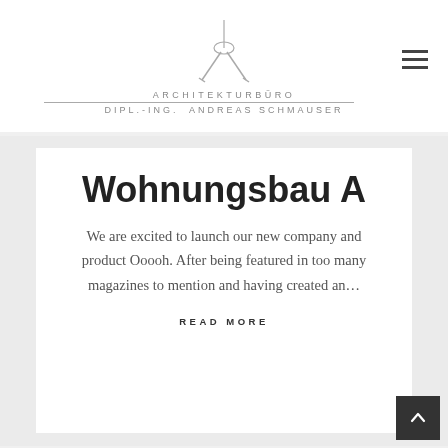ARCHITEKTURBÜRO DIPL.-ING. ANDREAS SCHMAUSER
Wohnungsbau A
We are excited to launch our new company and product Ooooh. After being featured in too many magazines to mention and having created an…
READ MORE